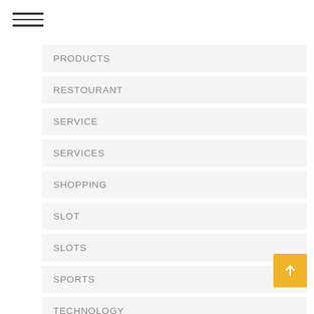[Figure (other): Hamburger menu icon — three horizontal lines]
PRODUCTS
RESTOURANT
SERVICE
SERVICES
SHOPPING
SLOT
SLOTS
SPORTS
TECHNOLOGY
TRAVEL
[Figure (other): Scroll-to-top button — gold/yellow square with white upward arrow]